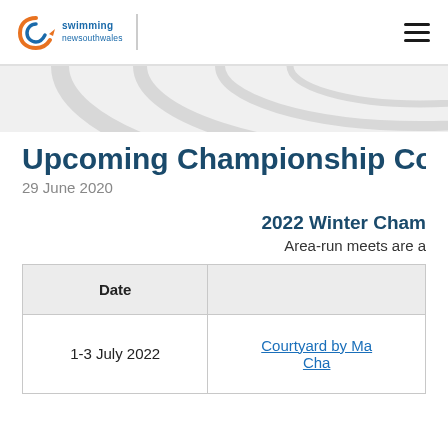[Figure (logo): Swimming New South Wales logo with orange and blue swirl icon and text 'swimming newsouthwales']
Upcoming Championship Co
29 June 2020
2022 Winter Cham
Area-run meets are a
| Date |  |
| --- | --- |
| 1-3 July 2022 | Courtyard by Ma
Cha |